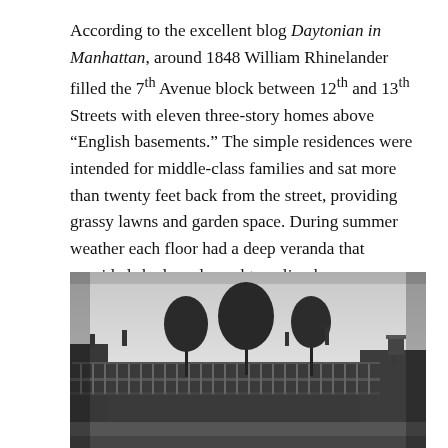According to the excellent blog Daytonian in Manhattan, around 1848 William Rhinelander filled the 7th Avenue block between 12th and 13th Streets with eleven three-story homes above “English basements.” The simple residences were intended for middle-class families and sat more than twenty feet back from the street, providing grassy lawns and garden space. During summer weather each floor had a deep veranda that provided shade and caught cooling breezes.
[Figure (photo): Black and white photograph of a long row of three-story buildings with verandas, partially demolished or in disrepair, with bare trees visible behind them and a grey sky above.]